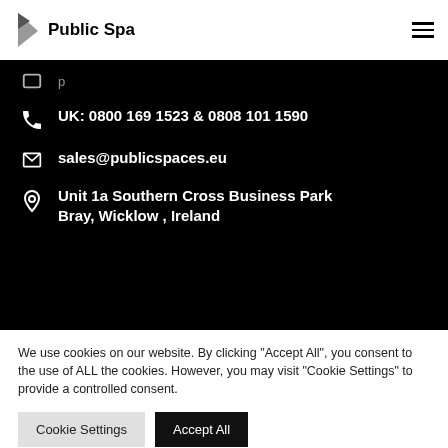Public Spa
UK: 0800 169 1523 & 0808 101 1590
sales@publicspaces.eu
Unit 1a Southern Cross Business Park Bray, Wicklow , Ireland
We use cookies on our website. By clicking “Accept All”, you consent to the use of ALL the cookies. However, you may visit "Cookie Settings" to provide a controlled consent.
Cookie Settings | Accept All